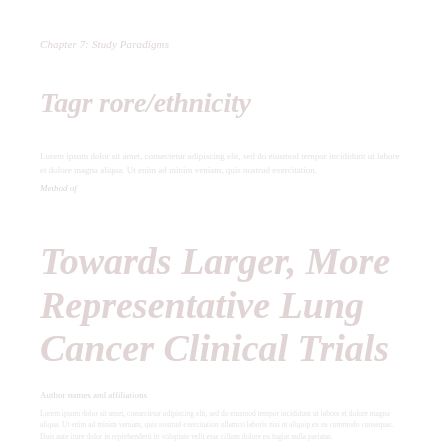Chapter 7: Study Paradigms
Tagr rore/ethnicity
Lorem ipsum dolor sit amet, consectetur adipiscing elit, sed do eiusmod tempor incididunt ut labore et dolore magna aliqua.
Method of
Towards Larger, More Representative Lung Cancer Clinical Trials
Author names and affiliations
Lorem ipsum dolor sit amet, consectetur adipiscing elit, sed do eiusmod tempor incididunt ut labore et dolore magna aliqua. Ut enim ad minim veniam, quis nostrud exercitation ullamco laboris nisi ut aliquip ex ea commodo consequat.